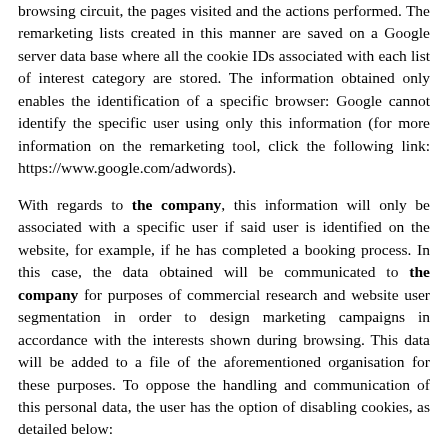browsing circuit, the pages visited and the actions performed. The remarketing lists created in this manner are saved on a Google server data base where all the cookie IDs associated with each list of interest category are stored. The information obtained only enables the identification of a specific browser: Google cannot identify the specific user using only this information (for more information on the remarketing tool, click the following link: https://www.google.com/adwords).
With regards to the company, this information will only be associated with a specific user if said user is identified on the website, for example, if he has completed a booking process. In this case, the data obtained will be communicated to the company for purposes of commercial research and website user segmentation in order to design marketing campaigns in accordance with the interests shown during browsing. This data will be added to a file of the aforementioned organisation for these purposes. To oppose the handling and communication of this personal data, the user has the option of disabling cookies, as detailed below:
The user may disable cookies or find out more about their use via the settings of his browser. However, if cookies are disabled, it is possible that the user may not be able to make full use of all of the website's functions. Regarding remarketing cookies, the user may disable them of Google remarketing by visiting the Google ad settings...